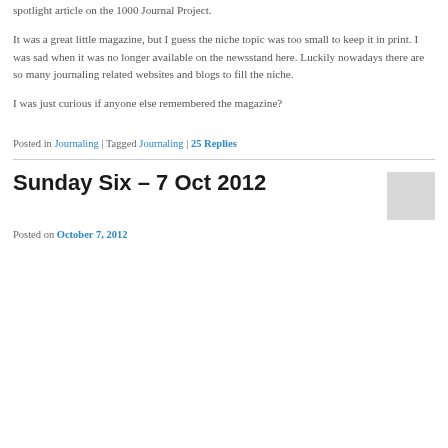spotlight article on the 1000 Journal Project.
It was a great little magazine, but I guess the niche topic was too small to keep it in print. I was sad when it was no longer available on the newsstand here. Luckily nowadays there are so many journaling related websites and blogs to fill the niche.
I was just curious if anyone else remembered the magazine?
Posted in Journaling | Tagged Journaling | 25 Replies
Sunday Six – 7 Oct 2012
Posted on October 7, 2012